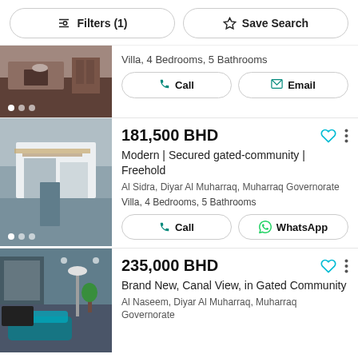Filters (1)   Save Search
Villa, 4 Bedrooms, 5 Bathrooms
[Figure (photo): Interior room with wooden table and decorative objects]
181,500 BHD
Modern | Secured gated-community | Freehold
Al Sidra, Diyar Al Muharraq, Muharraq Governorate
Villa, 4 Bedrooms, 5 Bathrooms
[Figure (photo): Modern villa exterior architectural photo]
235,000 BHD
Brand New, Canal View, in Gated Community
Al Naseem, Diyar Al Muharraq, Muharraq Governorate
[Figure (photo): Interior living space with floor lamp and plant]